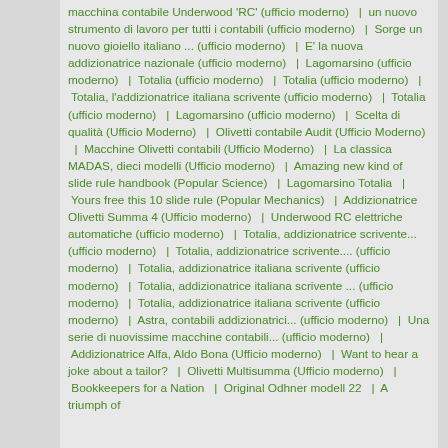macchina contabile Underwood 'RC' (ufficio moderno) | un nuovo strumento di lavoro per tutti i contabili (ufficio moderno) | Sorge un nuovo gioiello italiano ... (ufficio moderno) | E' la nuova addizionatrice nazionale (ufficio moderno) | Lagomarsino (ufficio moderno) | Totalia (ufficio moderno) | Totalia (ufficio moderno) | Totalia, l'addizionatrice italiana scrivente (ufficio moderno) | Totalia (ufficio moderno) | Lagomarsino (ufficio moderno) | Scelta di qualità (Ufficio Moderno) | Olivetti contabile Audit (Ufficio Moderno) | Macchine Olivetti contabili (Ufficio Moderno) | La classica MADAS, dieci modelli (Ufficio moderno) | Amazing new kind of slide rule handbook (Popular Science) | Lagomarsino Totalia | Yours free this 10 slide rule (Popular Mechanics) | Addizionatrice Olivetti Summa 4 (Ufficio moderno) | Underwood RC elettriche automatiche (ufficio moderno) | Totalia, addizionatrice scrivente... (ufficio moderno) | Totalia, addizionatrice scrivente.... (ufficio moderno) | Totalia, addizionatrice italiana scrivente (ufficio moderno) | Totalia, addizionatrice italiana scrivente ... (ufficio moderno) | Totalia, addizionatrice italiana scrivente (ufficio moderno) | Astra, contabili addizionatrici... (ufficio moderno) | Una serie di nuovissime macchine contabili... (ufficio moderno) | Addizionatrice Alfa, Aldo Bona (Ufficio moderno) | Want to hear a joke about a tailor? | Olivetti Multisumma (Ufficio moderno) | Bookkeepers for a Nation | Original Odhner modell 22 | A triumph of